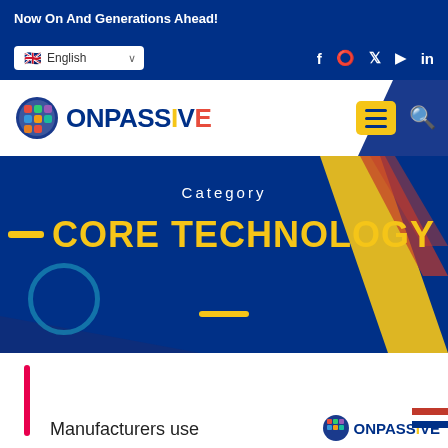Now On And Generations Ahead!
English
[Figure (screenshot): ONPASSIVE logo with globe icon, nav bar with hamburger menu and search icon]
Category
CORE TECHNOLOGY
[Figure (logo): ONPASSIVE small logo at bottom right]
Manufacturers use